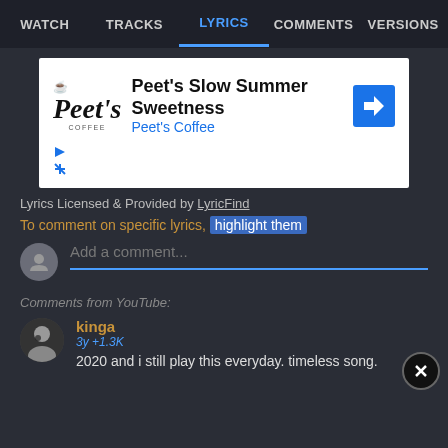WATCH   TRACKS   LYRICS   COMMENTS   VERSIONS
[Figure (screenshot): Advertisement for Peet's Slow Summer Sweetness by Peet's Coffee with logo and navigation arrow icon]
Lyrics Licensed & Provided by LyricFind
To comment on specific lyrics, highlight them
Add a comment...
Comments from YouTube:
kinga
3y  +1.3K
2020 and i still play this everyday. timeless song.